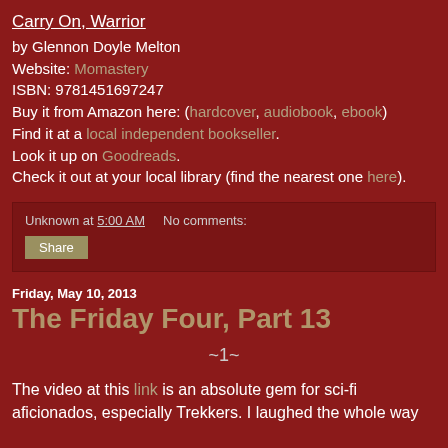Carry On, Warrior
by Glennon Doyle Melton
Website: Momastery
ISBN: 9781451697247
Buy it from Amazon here: (hardcover, audiobook, ebook)
Find it at a local independent bookseller.
Look it up on Goodreads.
Check it out at your local library (find the nearest one here).
Unknown at 5:00 AM   No comments:
Share
Friday, May 10, 2013
The Friday Four, Part 13
~1~
The video at this link is an absolute gem for sci-fi aficionados, especially Trekkers. I laughed the whole way